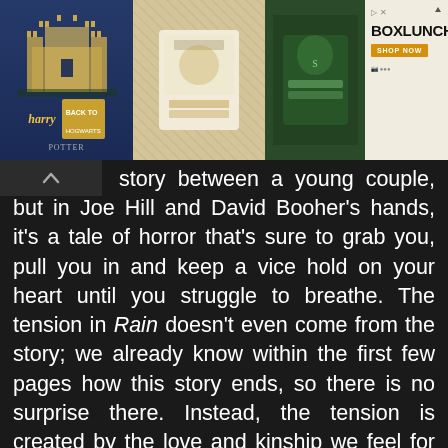[Figure (illustration): Advertisement banner featuring Harry Potter merchandise (Hogwarts castle graphic, folded paper items on wooden background, green Slytherin clothing) alongside a BoxLunch logo and 'Shop Now' button on a light background.]
story between a young couple, but in Joe Hill and David Booher's hands, it's a tale of horror that's sure to grab you, pull you in and keep a vice hold on your heart until you struggle to breathe. The tension in Rain doesn't even come from the story; we already know within the first few pages how this story ends, so there is no surprise there. Instead, the tension is created by the love and kinship we feel for the characters and how powerless we are to help them avoid their fates.